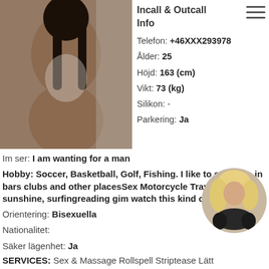[Figure (photo): Photo of a woman from behind, wearing a white lace outfit, dark hair]
Incall & Outcall
Info
Telefon: +46XXX293978
Ålder: 25
Höjd: 163 (cm)
Vikt: 73 (kg)
Silikon: -
Parkering: Ja
Im ser: I am wanting for a man
Hobby: Soccer, Basketball, Golf, Fishing. I like to socialise in bars clubs and other placesSex Motorcycle Travelenjoy sunshine, surfingreading gim watch this kind of web pafe
Orientering: Bisexuella
Nationalitet:
Säker lägenhet: Ja
[Figure (photo): Circular thumbnail photo of a woman with blonde wavy hair, black outfit]
SERVICES: Sex & Massage Rollspell Striptease Lätt